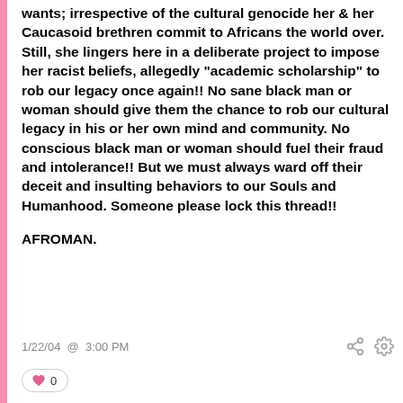wants; irrespective of the cultural genocide her & her Caucasoid brethren commit to Africans the world over. Still, she lingers here in a deliberate project to impose her racist beliefs, allegedly "academic scholarship" to rob our legacy once again!! No sane black man or woman should give them the chance to rob our cultural legacy in his or her own mind and community. No conscious black man or woman should fuel their fraud and intolerance!! But we must always ward off their deceit and insulting behaviors to our Souls and Humanhood. Someone please lock this thread!!

AFROMAN.
1/22/04 @ 3:00 PM